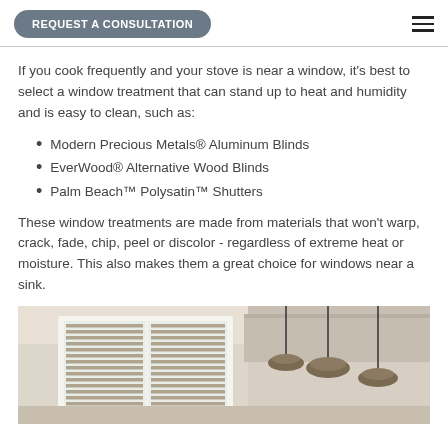REQUEST A CONSULTATION
If you cook frequently and your stove is near a window, it's best to select a window treatment that can stand up to heat and humidity and is easy to clean, such as:
Modern Precious Metals® Aluminum Blinds
EverWood® Alternative Wood Blinds
Palm Beach™ Polysatin™ Shutters
These window treatments are made from materials that won't warp, crack, fade, chip, peel or discolor - regardless of extreme heat or moisture. This also makes them a great choice for windows near a sink.
[Figure (photo): Interior kitchen photo showing horizontal window blinds on a window, with pendant lights hanging from the ceiling]